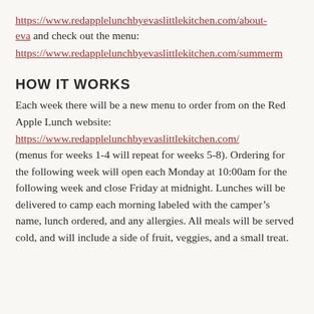https://www.redapplelunchbyevaslittlekitchen.com/about-eva and check out the menu:
https://www.redapplelunchbyevaslittlekitchen.com/summerm
HOW IT WORKS
Each week there will be a new menu to order from on the Red Apple Lunch website: https://www.redapplelunchbyevaslittlekitchen.com/ (menus for weeks 1-4 will repeat for weeks 5-8). Ordering for the following week will open each Monday at 10:00am for the following week and close Friday at midnight. Lunches will be delivered to camp each morning labeled with the camper’s name, lunch ordered, and any allergies. All meals will be served cold, and will include a side of fruit, veggies, and a small treat.